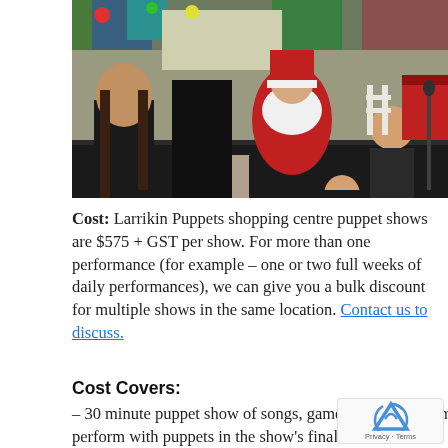[Figure (photo): Children interacting with performers in costumes including Santa Claus and colorful puppets at a shopping centre event. A man is crouching to interact with kids.]
Cost: Larrikin Puppets shopping centre puppet shows are $575 + GST per show. For more than one performance (for example – one or two full weeks of daily performances), we can give you a bulk discount for multiple shows in the same location. Contact us to discuss.
Cost Covers:
– 30 minute puppet show of songs, games, jokes and comical interaction with the audience, including audience volunteers to perform with puppets in the show's finale.